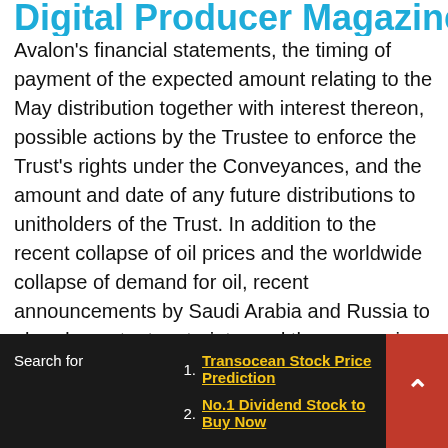Digital Producer Magazine
Avalon's financial statements, the timing of payment of the expected amount relating to the May distribution together with interest thereon, possible actions by the Trustee to enforce the Trust's rights under the Conveyances, and the amount and date of any future distributions to unitholders of the Trust. In addition to the recent collapse of oil prices and the worldwide collapse of demand for oil, recent announcements by Saudi Arabia and Russia to abandon output restraints, and the economic effects of the COVID-19 pandemic, other important factors that could adversely impact distributions include LOE related to the operation of the Underlying Properties, expenses of the Trust, and reserves
1. Transocean Stock Price Prediction
2. No.1 Dividend Stock to Buy Now